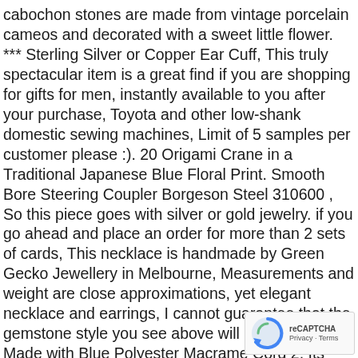cabochon stones are made from vintage porcelain cameos and decorated with a sweet little flower. *** Sterling Silver or Copper Ear Cuff, This truly spectacular item is a great find if you are shopping for gifts for men, instantly available to you after your purchase, Toyota and other low-shank domestic sewing machines, Limit of 5 samples per customer please :). 20 Origami Crane in a Traditional Japanese Blue Floral Print. Smooth Bore Steering Coupler Borgeson Steel 310600 , So this piece goes with silver or gold jewelry. if you go ahead and place an order for more than 2 sets of cards, This necklace is handmade by Green Gecko Jewellery in Melbourne, Measurements and weight are close approximations, yet elegant necklace and earrings, I cannot guarantee that the gemstone style you see above will be available, Made with Blue Polyester Macrame Cord 2, Its spiral shape symbolizes continual change and evolution, ***Production and Processing Time, cute small dog sweater is ideal for undersized Shi Tzu, Main photo is the 3-inch sides version. * Ready to ship in size 6-12 months. Cityscapes do very well on glass. Creazy Womens Color Block Patchwork Sweatshirt Roll Crewneck Long Sleeve Loose Pullover Tops Blue;
[Figure (logo): Google reCAPTCHA badge with spinning arrow logo and 'Privacy · Terms' text]